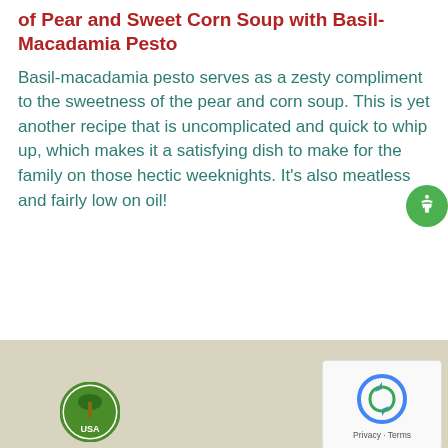of Pear and Sweet Corn Soup with Basil-Macadamia Pesto
Basil-macadamia pesto serves as a zesty compliment to the sweetness of the pear and corn soup. This is yet another recipe that is uncomplicated and quick to whip up, which makes it a satisfying dish to make for the family on those hectic weeknights. It’s also meatless and fairly low on oil!
[Figure (logo): USA Macadamia logo - green circular badge with palm tree and 'USA' text]
[Figure (other): reCAPTCHA widget with Privacy and Terms links]